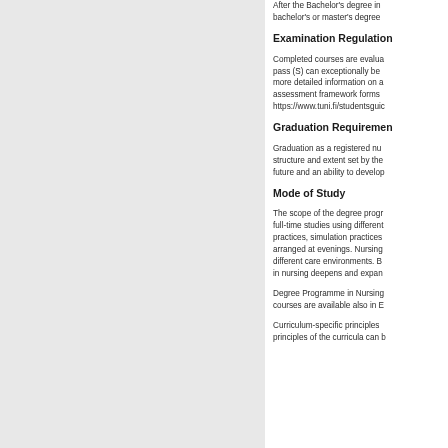After the Bachelor's degree in... bachelor's or master's degree...
Examination Regulation
Completed courses are evalua... pass (S) can exceptionally be ... more detailed information on a... assessment framework forms ... https://www.tuni.fi/studentsguic...
Graduation Requiremen
Graduation as a registered nu... structure and extent set by the... future and an ability to develop...
Mode of Study
The scope of the degree progr... full-time studies using different... practices, simulation practices... arranged at evenings. Nursing... different care environments. B... in nursing deepens and expan...
Degree Programme in Nursing... courses are available also in E...
Curriculum-specific principles ... principles of the curricula can b...